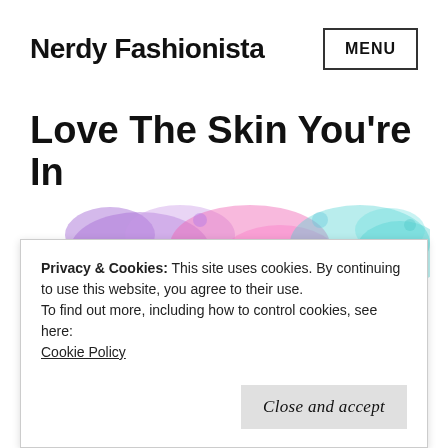Nerdy Fashionista  MENU
Love The Skin You're In
[Figure (illustration): Colorful watercolor splash background in purple, pink, orange, and teal colors with cursive text reading 'Just Love Yourself']
Privacy & Cookies: This site uses cookies. By continuing to use this website, you agree to their use.
To find out more, including how to control cookies, see here: Cookie Policy
Close and accept